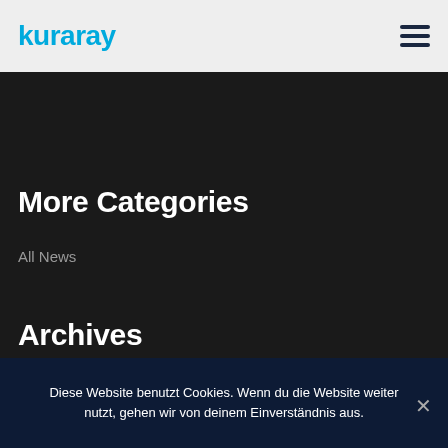kuraray
More Categories
All News
Archives
Diese Website benutzt Cookies. Wenn du die Website weiter nutzt, gehen wir von deinem Einverständnis aus.